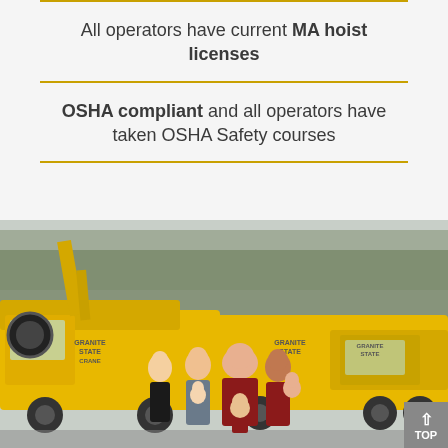All operators have current MA hoist licenses
OSHA compliant and all operators have taken OSHA Safety courses
[Figure (photo): Group of people (family) standing in front of large yellow Granite State Crane trucks outdoors, trees in background.]